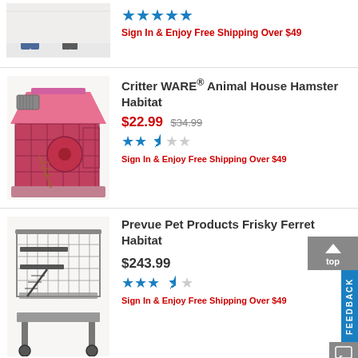[Figure (photo): Partial product image visible at top - appears to be a pet product with people in background]
Sign In & Enjoy Free Shipping Over $49
[Figure (photo): Pink Critter WARE Animal House Hamster Habitat cage with pink roof and accessories]
Critter WARE® Animal House Hamster Habitat
$22.99  $34.99
Sign In & Enjoy Free Shipping Over $49
[Figure (photo): Metal wire Prevue Pet Products Frisky Ferret Habitat cage on wheels with ramps and trays]
Prevue Pet Products Frisky Ferret Habitat
$243.99
Sign In & Enjoy Free Shipping Over $49
items per page:  24  36  48  60